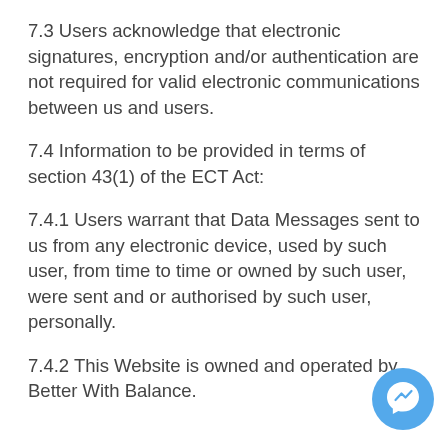7.3 Users acknowledge that electronic signatures, encryption and/or authentication are not required for valid electronic communications between us and users.
7.4 Information to be provided in terms of section 43(1) of the ECT Act:
7.4.1 Users warrant that Data Messages sent to us from any electronic device, used by such user, from time to time or owned by such user, were sent and or authorised by such user, personally.
7.4.2 This Website is owned and operated by Better With Balance.
[Figure (illustration): Messenger chat bubble icon button in blue circle]